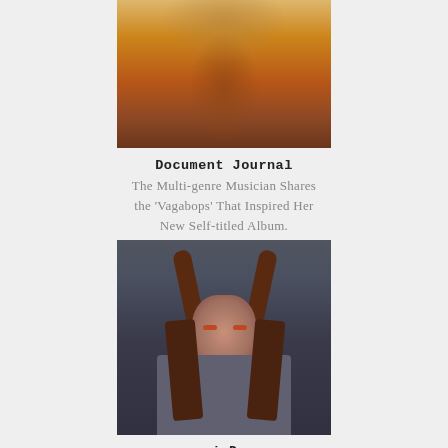[Figure (photo): Portrait photo of a woman wearing orange clothing with floral background, cropped at shoulders, top of page]
Document Journal
The Multi-genre Musician Shares the 'Vagabops' That Inspired Her New Self-titled Album.
[Figure (photo): Portrait of a woman with two high pigtails, wearing a grey blazer, with dark red eye makeup, photographed against a grey background]
i-D
Eartheater Is Making Music For A Post-apocalyptic Future
[Figure (photo): Landscape photo showing green hills under a sky, partially visible at bottom of page]